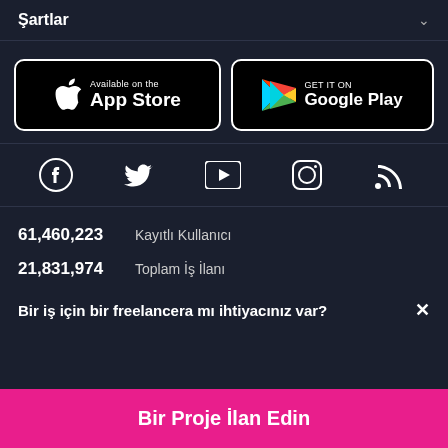Şartlar
[Figure (logo): App Store and Google Play download buttons]
[Figure (infographic): Social media icons: Facebook, Twitter, YouTube, Instagram, RSS]
61,460,223  Kayıtlı Kullanıcı
21,831,974  Toplam İş İlanı
Bir iş için bir freelancera mı ihtiyacınız var?  ×
Bir Proje İlan Edin